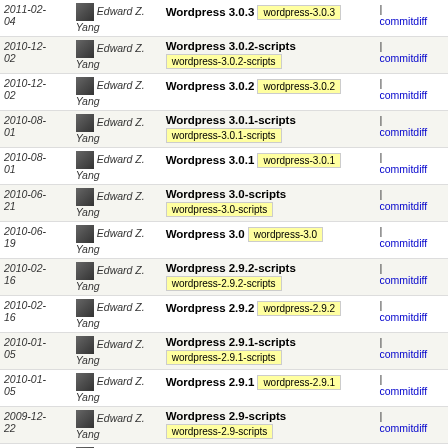| Date | Author | Tag/Version | Link |
| --- | --- | --- | --- |
| 2011-02-04 | Edward Z. Yang | Wordpress 3.0.3 | wordpress-3.0.3 | | commitdiff |
| 2010-12-02 | Edward Z. Yang | Wordpress 3.0.2-scripts | wordpress-3.0.2-scripts | | commitdiff |
| 2010-12-02 | Edward Z. Yang | Wordpress 3.0.2 | wordpress-3.0.2 | | commitdiff |
| 2010-08-01 | Edward Z. Yang | Wordpress 3.0.1-scripts | wordpress-3.0.1-scripts | | commitdiff |
| 2010-08-01 | Edward Z. Yang | Wordpress 3.0.1 | wordpress-3.0.1 | | commitdiff |
| 2010-06-21 | Edward Z. Yang | Wordpress 3.0-scripts | wordpress-3.0-scripts | | commitdiff |
| 2010-06-19 | Edward Z. Yang | Wordpress 3.0 | wordpress-3.0 | | commitdiff |
| 2010-02-16 | Edward Z. Yang | Wordpress 2.9.2-scripts | wordpress-2.9.2-scripts | | commitdiff |
| 2010-02-16 | Edward Z. Yang | Wordpress 2.9.2 | wordpress-2.9.2 | | commitdiff |
| 2010-01-05 | Edward Z. Yang | Wordpress 2.9.1-scripts | wordpress-2.9.1-scripts | | commitdiff |
| 2010-01-05 | Edward Z. Yang | Wordpress 2.9.1 | wordpress-2.9.1 | | commitdiff |
| 2009-12-22 | Edward Z. Yang | Wordpress 2.9-scripts | wordpress-2.9-scripts | | commitdiff |
| 2009-12- | Edward Z. Yang | Wordpress 2.9 | wordpress-2.9 | | commitdiff |